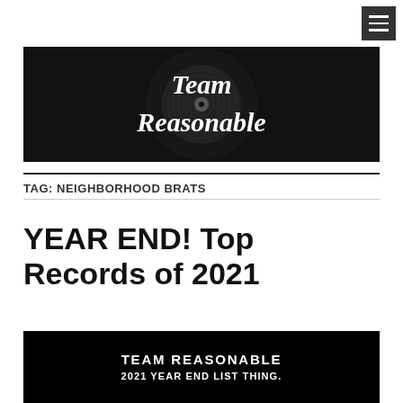[Figure (logo): Team Reasonable blog header banner — black background with vinyl record and cursive white text reading 'Team Reasonable']
TAG: NEIGHBORHOOD BRATS
YEAR END! Top Records of 2021
[Figure (illustration): Black banner image reading 'TEAM REASONABLE' and '2021 YEAR END LIST THING.' in bold outlined white lettering]